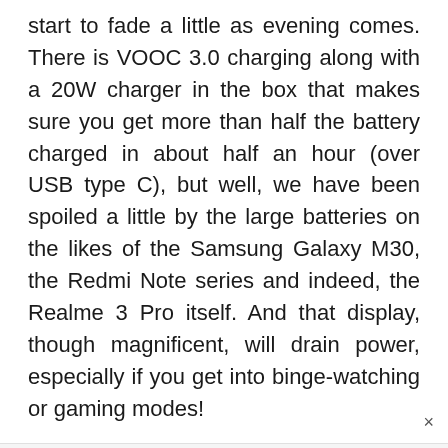start to fade a little as evening comes. There is VOOC 3.0 charging along with a 20W charger in the box that makes sure you get more than half the battery charged in about half an hour (over USB type C), but well, we have been spoiled a little by the large batteries on the likes of the Samsung Galaxy M30, the Redmi Note series and indeed, the Realme 3 Pro itself. And that display, though magnificent, will drain power, especially if you get into binge-watching or gaming modes!